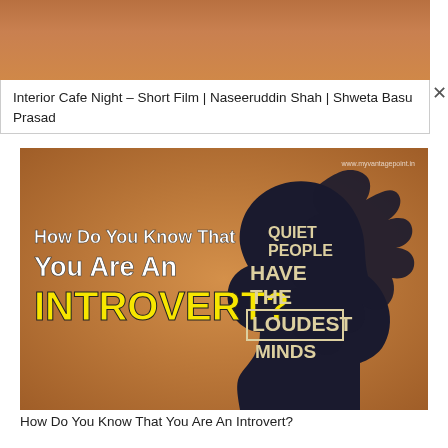Interior Cafe Night – Short Film | Naseeruddin Shah | Shweta Basu Prasad
[Figure (illustration): Motivational image with a dark silhouette of a person's head profile against a warm brown background. Left side text reads 'How Do You Know That You Are An INTROVERT?' and right side text overlaid on the silhouette reads 'QUIET PEOPLE HAVE THE LOUDEST MINDS'. Website watermark: www.myvantagepoint.in]
How Do You Know That You Are An Introvert?